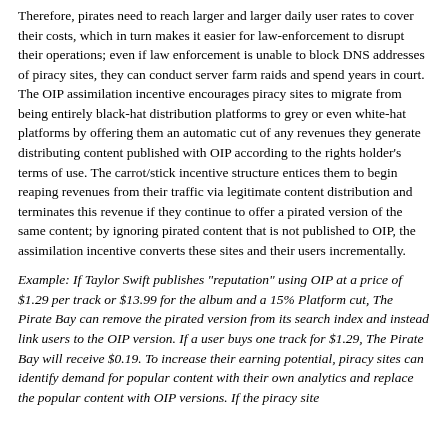Therefore, pirates need to reach larger and larger daily user rates to cover their costs, which in turn makes it easier for law-enforcement to disrupt their operations; even if law enforcement is unable to block DNS addresses of piracy sites, they can conduct server farm raids and spend years in court. The OIP assimilation incentive encourages piracy sites to migrate from being entirely black-hat distribution platforms to grey or even white-hat platforms by offering them an automatic cut of any revenues they generate distributing content published with OIP according to the rights holder's terms of use. The carrot/stick incentive structure entices them to begin reaping revenues from their traffic via legitimate content distribution and terminates this revenue if they continue to offer a pirated version of the same content; by ignoring pirated content that is not published to OIP, the assimilation incentive converts these sites and their users incrementally.
Example: If Taylor Swift publishes "reputation" using OIP at a price of $1.29 per track or $13.99 for the album and a 15% Platform cut, The Pirate Bay can remove the pirated version from its search index and instead link users to the OIP version. If a user buys one track for $1.29, The Pirate Bay will receive $0.19. To increase their earning potential, piracy sites can identify demand for popular content with their own analytics and replace the popular content with OIP versions. If the piracy site